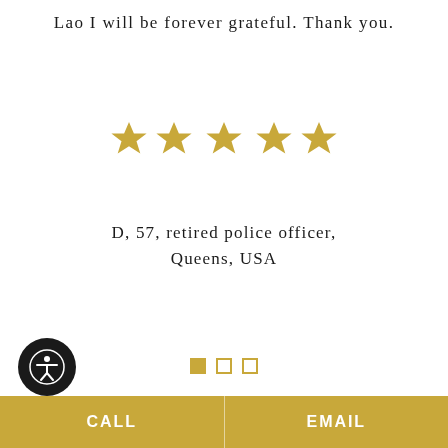Lao I will be forever grateful. Thank you.
[Figure (other): Five gold stars rating]
D, 57, retired police officer, Queens, USA
[Figure (other): Carousel navigation dots: one filled gold square and two empty gold squares]
[Figure (other): Accessibility icon button (person in circle) in black]
CALL | EMAIL